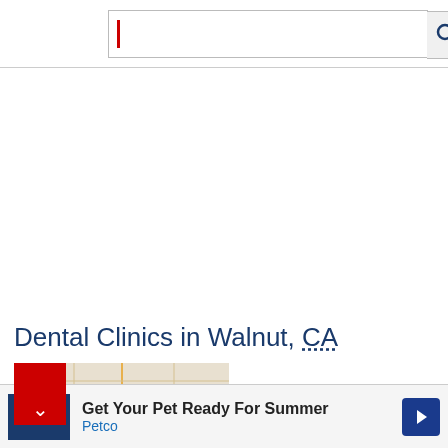[Figure (screenshot): Search bar with red cursor and search icon button on right]
Dental Clinics in Walnut, CA
[Figure (map): Street map of Walnut, CA with a blue location pin and red bookmark button overlay]
Get Your Pet Ready For Summer
Petco